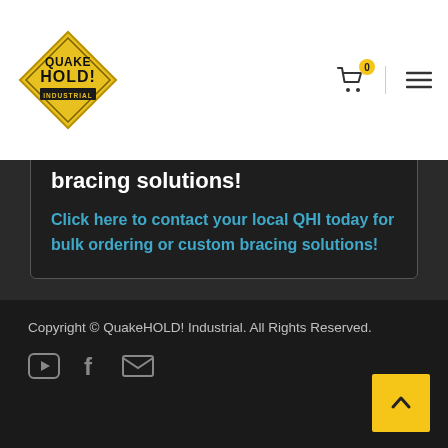[Figure (logo): QuakeHOLD! Industrial logo — yellow diamond shape with bold text]
bracing solutions!
Click here to contact your local QHI today for bulk ordering or custom bracing solutions!
Copyright © QuakeHOLD! Industrial. All Rights Reserved.